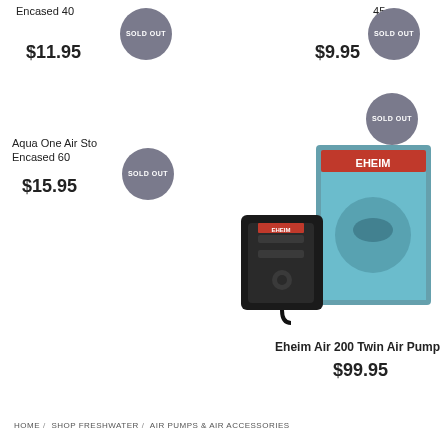Encased 40
$11.95
45cm
$9.95
Aqua One Air Sto... Encased 60
$15.95
[Figure (photo): Eheim Air 200 Twin Air Pump product photo showing device and box]
Eheim Air 200 Twin Air Pump
$99.95
HOME / SHOP FRESHWATER / AIR PUMPS & AIR ACCESSORIES